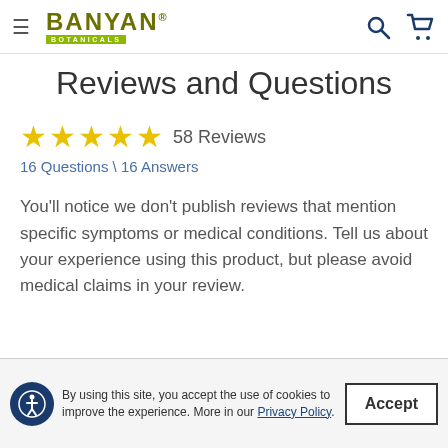Banyan Botanicals
Reviews and Questions
★★★★★ 58 Reviews
16 Questions \ 16 Answers
You'll notice we don't publish reviews that mention specific symptoms or medical conditions. Tell us about your experience using this product, but please avoid medical claims in your review.
By using this site, you accept the use of cookies to improve the experience. More in our Privacy Policy.